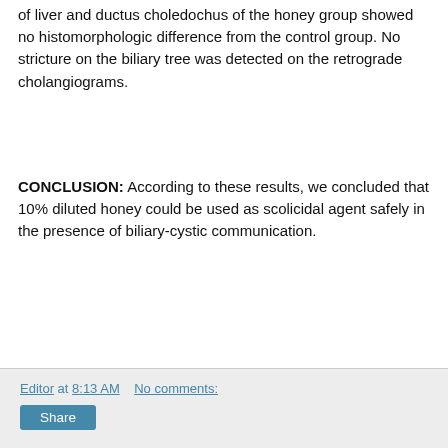of liver and ductus choledochus of the honey group showed no histomorphologic difference from the control group. No stricture on the biliary tree was detected on the retrograde cholangiograms.
CONCLUSION: According to these results, we concluded that 10% diluted honey could be used as scolicidal agent safely in the presence of biliary-cystic communication.
Editor at 8:13 AM    No comments:
Share
Wednesday, April 09, 2008
Study: Honey Boosts Wound Healing Through Reduction in pH
[Figure (photo): Product image showing MEDIHONEY Wound & Burn Dressing packaging and a bee on honeycomb]